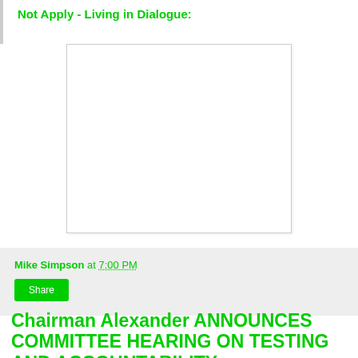Not Apply - Living in Dialogue:
[Figure (other): White rectangular image placeholder with light border]
Mike Simpson at 7:00 PM
Share
Chairman Alexander ANNOUNCES COMMITTEE HEARING ON TESTING AND ACCOUNTABILITY